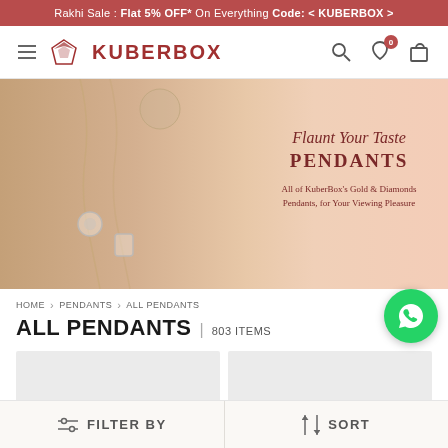Rakhi Sale : Flat 5% OFF* On Everything Code: < KUBERBOX >
[Figure (logo): KuberBox logo with diamond icon and hamburger menu]
[Figure (illustration): Hero banner showing pendants jewelry on warm peach/sepia background with text: 'Flaunt Your Taste PENDANTS All of KuberBox's Gold & Diamonds Pendants, for Your Viewing Pleasure']
HOME > PENDANTS > ALL PENDANTS
ALL PENDANTS | 803 ITEMS
[Figure (screenshot): Two product card placeholders in light gray]
FILTER BY   SORT